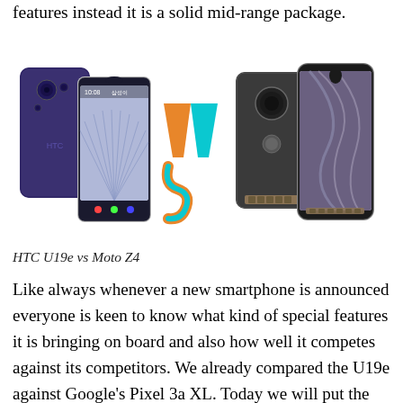features instead it is a solid mid-range package.
[Figure (photo): HTC U19e and Moto Z4 smartphones shown side by side with a colorful VS graphic in the center]
HTC U19e vs Moto Z4
Like always whenever a new smartphone is announced everyone is keen to know what kind of special features it is bringing on board and also how well it competes against its competitors. We already compared the U19e against Google's Pixel 3a XL. Today we will put the U19e against another mid-range phone Moto Z4 which is considered as one of the best in its category. The Moto Z4 is quite special due to a number of